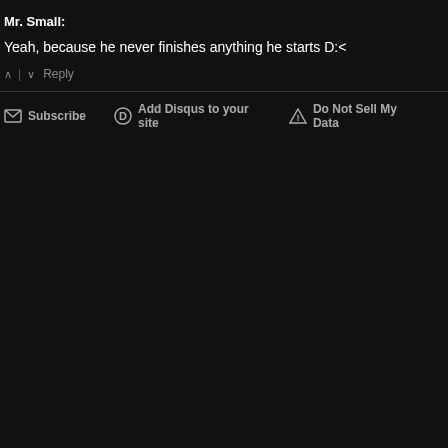Mr. Small:
Yeah, because he never finishes anything he starts D:<
^ | v  Reply
Subscribe  Add Disqus to your site  Do Not Sell My Data